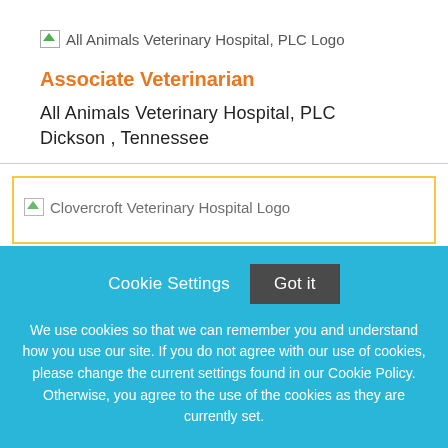[Figure (logo): All Animals Veterinary Hospital, PLC Logo placeholder image with broken image icon and alt text]
Associate Veterinarian
All Animals Veterinary Hospital, PLC
Dickson , Tennessee
[Figure (logo): Clovercroft Veterinary Hospital Logo placeholder image, partially visible inside a yellow-bordered card]
Cookie Settings
Got it
We use cookies so that we can remember you and understand how you use our site. If you do not agree with our use of cookies, please change the current settings found in our Cookie Policy. Otherwise, you agree to the use of the cookies as they are currently set.